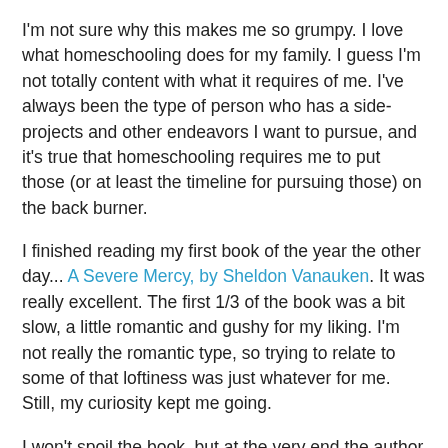I'm not sure why this makes me so grumpy. I love what homeschooling does for my family. I guess I'm not totally content with what it requires of me. I've always been the type of person who has a side-projects and other endeavors I want to pursue, and it's true that homeschooling requires me to put those (or at least the timeline for pursuing those) on the back burner.
I finished reading my first book of the year the other day... A Severe Mercy, by Sheldon Vanauken. It was really excellent. The first 1/3 of the book was a bit slow, a little romantic and gushy for my liking. I'm not really the romantic type, so trying to relate to some of that loftiness was just whatever for me. Still, my curiosity kept me going.
I won't spoil the book, but at the very end the author begins to talk about what he's learned through the very intense trial he endured. He starts to consider time. At the beginning, him and his love saw that if their love was to last, they would have to fight against separateness all their days. But much later he saw that that he, and all of humanity, is really always fighting against time. Even in their togetherness, they were